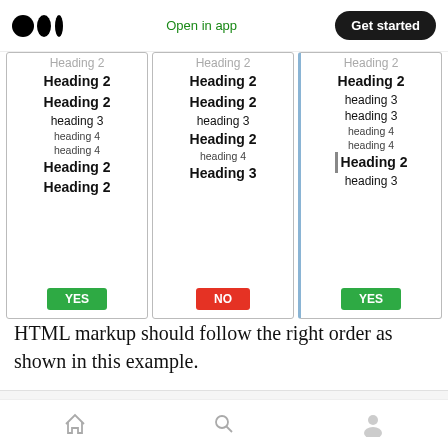Open in app | Get started
[Figure (illustration): Three side-by-side cards showing heading hierarchy examples (Heading 2, Heading 2, heading 3, heading 4 etc.) with YES/NO/YES badges. Left and right cards have YES badges (green), middle card has NO badge (red).]
HTML markup should follow the right order as shown in this example.
<h1>Submitting A Sitemap to Google
Home | Search | Profile